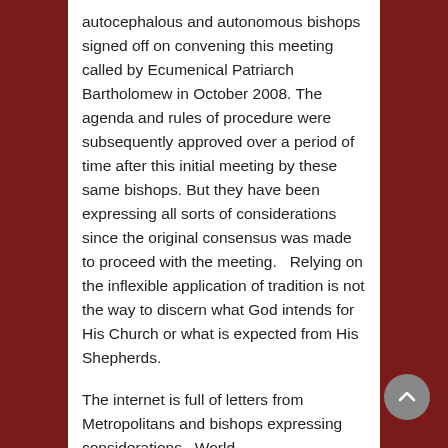autocephalous and autonomous bishops signed off on convening this meeting called by Ecumenical Patriarch Bartholomew in October 2008. The agenda and rules of procedure were subsequently approved over a period of time after this initial meeting by these same bishops. But they have been expressing all sorts of considerations since the original consensus was made to proceed with the meeting.   Relying on the inflexible application of tradition is not the way to discern what God intends for His Church or what is expected from His Shepherds.
The internet is full of letters from Metropolitans and bishops expressing considerations.  World